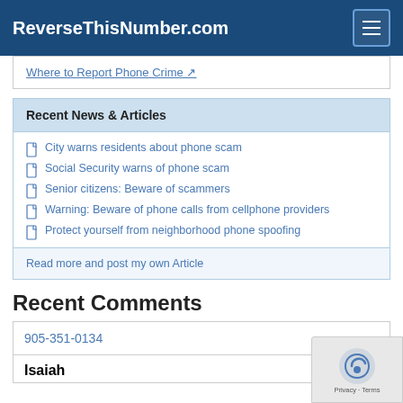ReverseThisNumber.com
Where to Report Phone Crime
Recent News & Articles
City warns residents about phone scam
Social Security warns of phone scam
Senior citizens: Beware of scammers
Warning: Beware of phone calls from cellphone providers
Protect yourself from neighborhood phone spoofing
Read more and post my own Article
Recent Comments
905-351-0134
Isaiah